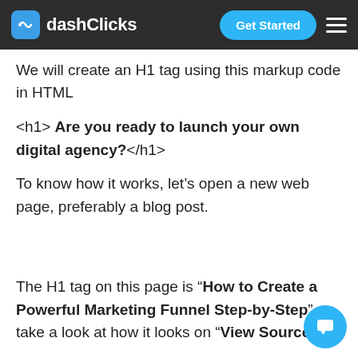dashClicks | Get Started
We will create an H1 tag using this markup code in HTML
<h1> Are you ready to launch your own digital agency?</h1>
To know how it works, let's open a new web page, preferably a blog post.
The H1 tag on this page is “How to Create a Powerful Marketing Funnel Step-by-Step” take a look at how it looks on “View Source.